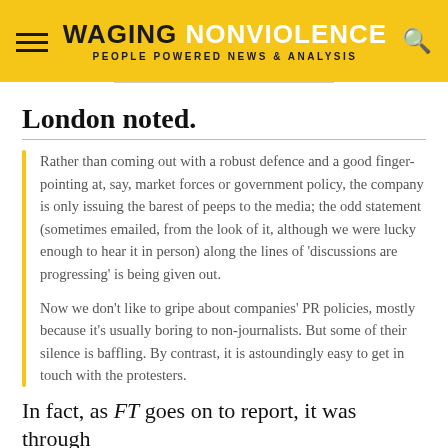WAGING NONVIOLENCE — PEOPLE POWERED NEWS & ANALYSIS
London noted.
Rather than coming out with a robust defence and a good finger-pointing at, say, market forces or government policy, the company is only issuing the barest of peeps to the media; the odd statement (sometimes emailed, from the look of it, although we were lucky enough to hear it in person) along the lines of 'discussions are progressing' is being given out.
Now we don't like to gripe about companies' PR policies, mostly because it's usually boring to non-journalists. But some of their silence is baffling. By contrast, it is astoundingly easy to get in touch with the protesters.
In fact, as FT goes on to report, it was through the protesters that the media found out. Yet...